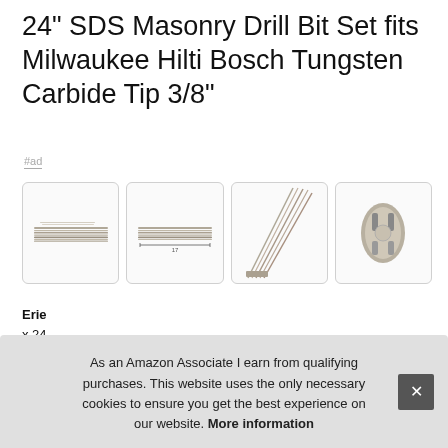24" SDS Masonry Drill Bit Set fits Milwaukee Hilti Bosch Tungsten Carbide Tip 3/8"
#ad
[Figure (photo): Four product images of SDS masonry drill bits: (1) side view of multiple long drill bits lying flat, (2) side view with dimension arrow, (3) angled fan view of multiple drill bits, (4) close-up of SDS shank tip end.]
Erie
x 24
5/8"
ove
As an Amazon Associate I earn from qualifying purchases. This website uses the only necessary cookies to ensure you get the best experience on our website. More information